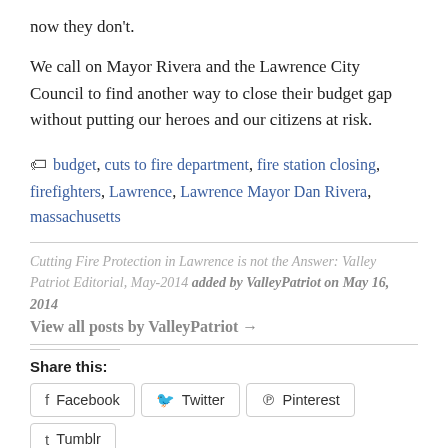now they don't.
We call on Mayor Rivera and the Lawrence City Council to find another way to close their budget gap without putting our heroes and our citizens at risk.
budget, cuts to fire department, fire station closing, firefighters, Lawrence, Lawrence Mayor Dan Rivera, massachusetts
Cutting Fire Protection in Lawrence is not the Answer: Valley Patriot Editorial, May-2014 added by ValleyPatriot on May 16, 2014 View all posts by ValleyPatriot →
Share this:
Facebook | Twitter | Pinterest | Tumblr | Reddit | LinkedIn | More